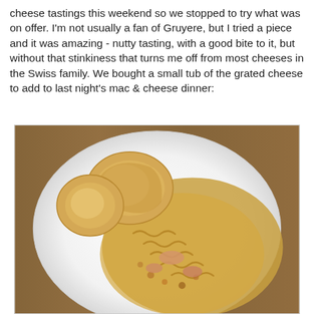cheese tastings this weekend so we stopped to try what was on offer. I'm not usually a fan of Gruyere, but I tried a piece and it was amazing - nutty tasting, with a good bite to it, but without that stinkiness that turns me off from most cheeses in the Swiss family. We bought a small tub of the grated cheese to add to last night's mac & cheese dinner:
[Figure (photo): A white plate containing mac and cheese with breadcrumb topping and pieces of sausage or chicken, alongside two pieces of toasted bread, on a wooden table surface.]